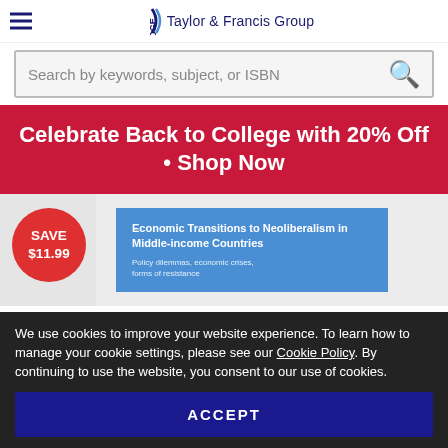Taylor & Francis Group
Search by keywords, subject, or ISBN
Celebrate Back to College with 20% Off • Shop Now
[Figure (illustration): Book cover for 'Economic Transitions to Neoliberalism in Middle-income Countries: Policy dilemmas, economic crises, forms of resistance' with a red SAVE $11.99 badge]
We use cookies to improve your website experience. To learn how to manage your cookie settings, please see our Cookie Policy. By continuing to use the website, you consent to our use of cookies.
ACCEPT